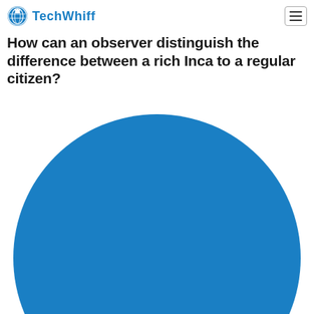TechWhiff
How can an observer distinguish the difference between a rich Inca to a regular citizen?
[Figure (illustration): Large solid blue circle, partially cropped at the bottom of the page, centered horizontally.]